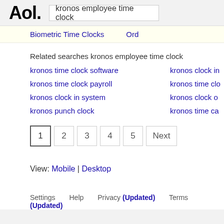Aol. | kronos employee time clock
Biometric Time Clocks   Ord...
Related searches kronos employee time clock
kronos time clock software
kronos clock in...
kronos time clock payroll
kronos time clo...
kronos clock in system
kronos clock o...
kronos punch clock
kronos time ca...
1  2  3  4  5  Next
View: Mobile | Desktop
Settings   Help   Privacy (Updated)   Terms (Updated)